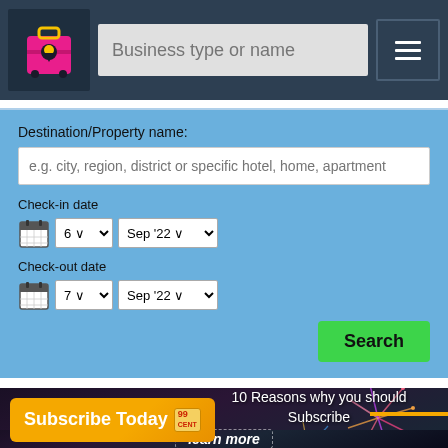[Figure (screenshot): Navigation bar with logo (pink suitcase with location pin), a search input field labeled 'Business type or name', and a hamburger menu icon on dark blue background]
[Figure (screenshot): Hotel/accommodation search form on blue background with 'Destination/Property name' text input (placeholder: e.g. city, region, district or specific hotel, home, apartment), Check-in date selectors (6, Sep '22), Check-out date selectors (7, Sep '22), and a green Search button]
[Figure (infographic): Advertisement banner with dark city/fireworks background. Orange 'Subscribe Today' badge with 99 icon top-left. Yellow horizontal line top-right. Text: '10 Reasons why you should Subscribe' and 'learn more' in dashed border box.]